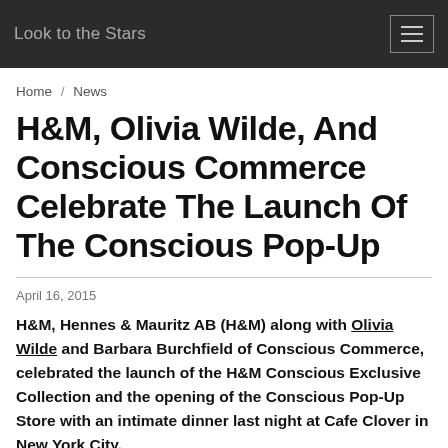Look to the Stars
Home / News
H&M, Olivia Wilde, And Conscious Commerce Celebrate The Launch Of The Conscious Pop-Up
April 16, 2015
H&M, Hennes & Mauritz AB (H&M) along with Olivia Wilde and Barbara Burchfield of Conscious Commerce, celebrated the launch of the H&M Conscious Exclusive Collection and the opening of the Conscious Pop-Up Store with an intimate dinner last night at Cafe Clover in New York City.